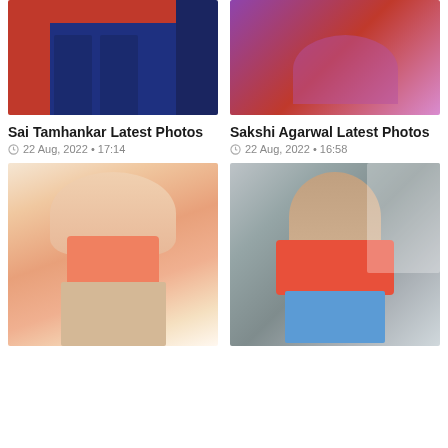[Figure (photo): Photo of Sai Tamhankar - lower body in blue satin pants on red background]
[Figure (photo): Photo of Sakshi Agarwal in purple/magenta saree, midriff visible]
Sai Tamhankar Latest Photos
22 Aug, 2022 • 17:14
Sakshi Agarwal Latest Photos
22 Aug, 2022 • 16:58
[Figure (photo): Photo of woman in orange bandeau top and beige pants, brown wavy hair]
[Figure (photo): Photo of woman at airport in red graphic t-shirt reading REBEL READY, jeans, sunglasses, brown curly hair]